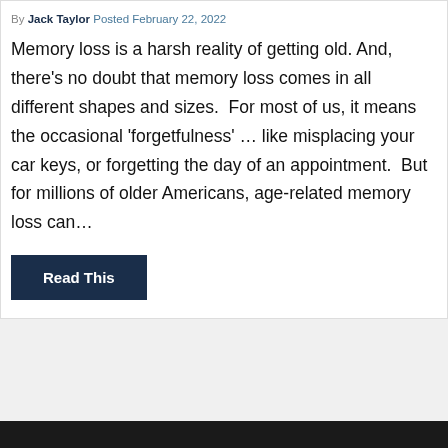By Jack Taylor Posted February 22, 2022
Memory loss is a harsh reality of getting old. And, there's no doubt that memory loss comes in all different shapes and sizes.  For most of us, it means the occasional 'forgetfulness' … like misplacing your car keys, or forgetting the day of an appointment.  But for millions of older Americans, age-related memory loss can…
Read This